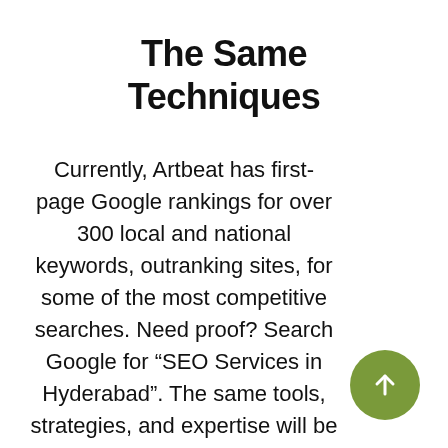The Same Techniques
Currently, Artbeat has first-page Google rankings for over 300 local and national keywords, outranking sites, for some of the most competitive searches. Need proof? Search Google for “SEO Services in Hyderabad”. The same tools, strategies, and expertise will be used for your website to help your